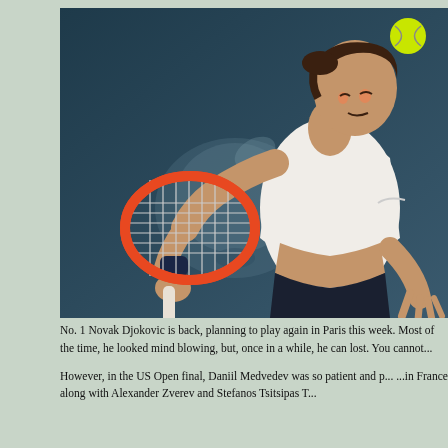[Figure (photo): A tennis player in a white shirt leaning forward serving a ball with an orange-framed racket. A yellow tennis ball is visible in the upper right. The background shows a dark blue court with a blurred sponsor logo (apple-like shape).]
No. 1 Novak Djokovic is back, planning to play again in Paris this week. Most of the time, he looked mind blowing, but, once in a while, he can lost. You cannot...
However, in the US Open final, Daniil Medvedev was so patient and p... ...in France along with Alexander Zverev and Stefanos Tsitsipas T...